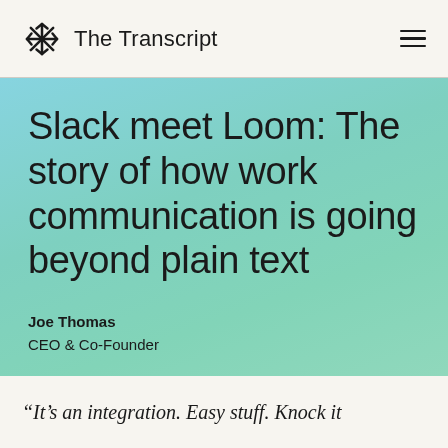The Transcript
Slack meet Loom: The story of how work communication is going beyond plain text
Joe Thomas
CEO & Co-Founder
“It’s an integration. Easy stuff. Knock it